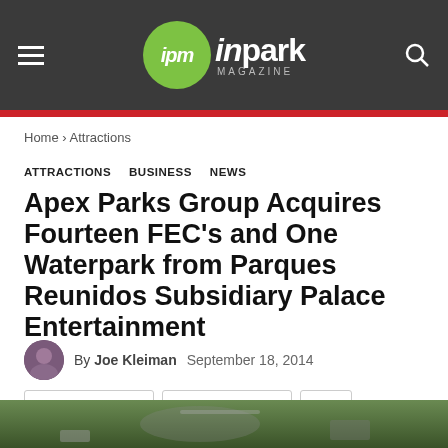ipm inpark MAGAZINE
Home › Attractions
ATTRACTIONS   BUSINESS   NEWS
Apex Parks Group Acquires Fourteen FEC's and One Waterpark from Parques Reunidos Subsidiary Palace Entertainment
By Joe Kleiman   September 18, 2014
Facebook   Twitter   +
[Figure (photo): Bottom strip showing outdoor amusement park / go-kart track scene]